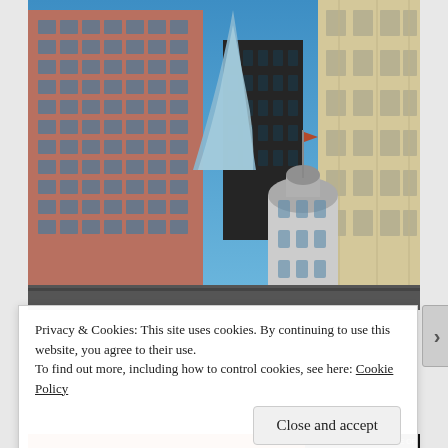[Figure (photo): Urban cityscape photograph showing multiple tall buildings and skyscrapers against a clear blue sky, viewed from street level looking upward. Buildings include a reddish-brown brick high-rise with grid windows, a dark glass tower, a modern curved glass skyscraper, a classical beige building with ornate details, and a dome-topped building visible in the middle distance.]
Privacy & Cookies: This site uses cookies. By continuing to use this website, you agree to their use.
To find out more, including how to control cookies, see here: Cookie Policy
Close and accept